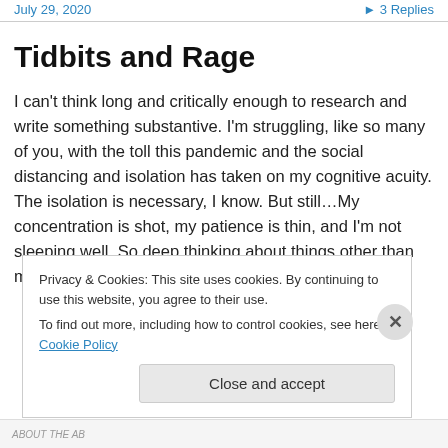July 29, 2020   ▶ 3 Replies
Tidbits and Rage
I can't think long and critically enough to research and write something substantive. I'm struggling, like so many of you, with the toll this pandemic and the social distancing and isolation has taken on my cognitive acuity. The isolation is necessary, I know. But still…My concentration is shot, my patience is thin, and I'm not sleeping well. So deep thinking about things other than my job is a big deal
Privacy & Cookies: This site uses cookies. By continuing to use this website, you agree to their use. To find out more, including how to control cookies, see here: Cookie Policy
Close and accept